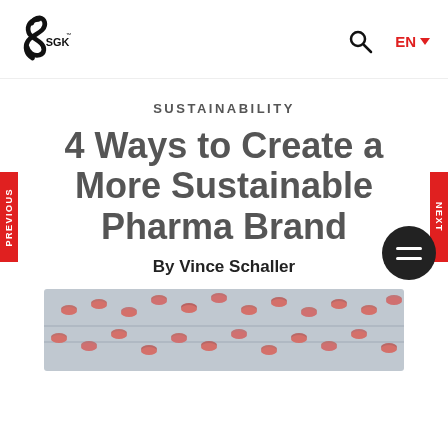SGK
SUSTAINABILITY
4 Ways to Create a More Sustainable Pharma Brand
By Vince Schaller
[Figure (photo): Pharmaceutical capsules/pills on a conveyor belt or tray, viewed from above]